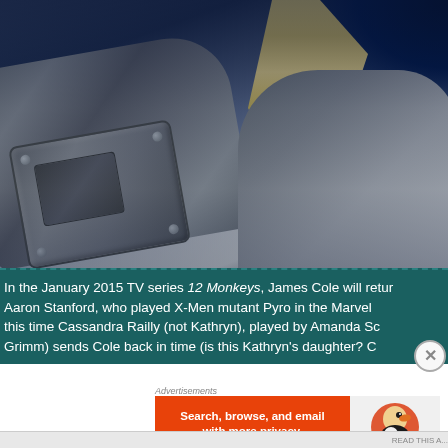[Figure (photo): Movie/TV still showing a figure in dark metallic armor with blonde hair against a dark blue background, resembling a sci-fi or fantasy scene.]
In the January 2015 TV series 12 Monkeys, James Cole will return. Aaron Stanford, who played X-Men mutant Pyro in the Marvel... this time Cassandra Railly (not Kathryn), played by Amanda Sc... Grimm) sends Cole back in time (is this Kathryn's daughter? C...
[Figure (other): DuckDuckGo advertisement banner: orange left side with text 'Search, browse, and email with more privacy. All in One Free App' and right side with DuckDuckGo duck logo and 'DuckDuckGo' text.]